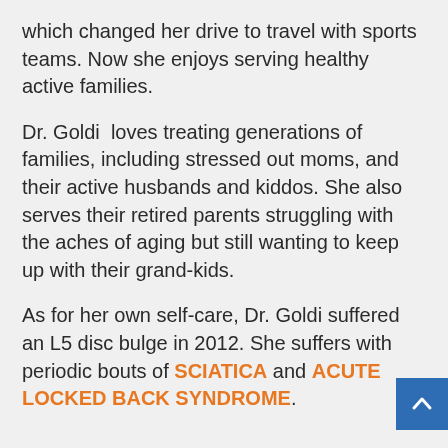which changed her drive to travel with sports teams. Now she enjoys serving healthy active families.
Dr. Goldi loves treating generations of families, including stressed out moms, and their active husbands and kiddos. She also serves their retired parents struggling with the aches of aging but still wanting to keep up with their grand-kids.
As for her own self-care, Dr. Goldi suffered an L5 disc bulge in 2012. She suffers with periodic bouts of SCIATICA and ACUTE LOCKED BACK SYNDROME.